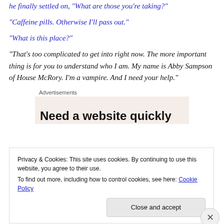he finally settled on, "What are those you’re taking?"
“Caffeine pills. Otherwise I’ll pass out.”
“What is this place?”
“That’s too complicated to get into right now. The more important thing is for you to understand who I am. My name is Abby Sampson of House McRory. I’m a vampire. And I need your help.”
Advertisements
[Figure (other): Advertisement box with text 'Need a website quickly' on a beige background]
Privacy & Cookies: This site uses cookies. By continuing to use this website, you agree to their use. To find out more, including how to control cookies, see here: Cookie Policy
Close and accept